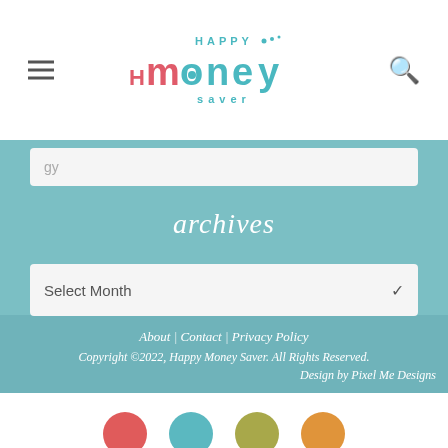[Figure (logo): Happy Money Saver logo with colorful text and decorative dots]
gy
archives
Select Month
About | Contact | Privacy Policy
Copyright ©2022, Happy Money Saver. All Rights Reserved.
Design by Pixel Me Designs